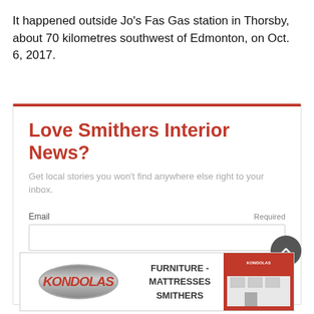It happened outside Jo's Fas Gas station in Thorsby, about 70 kilometres southwest of Edmonton, on Oct. 6, 2017.
Love Smithers Interior News?
Get local stories you won't find anywhere else right to your inbox.
[Figure (infographic): Email subscription form with label, required marker, input field, and Subscribe button]
[Figure (infographic): Kondolas Furniture - Mattresses Smithers advertisement banner with logo and building image]